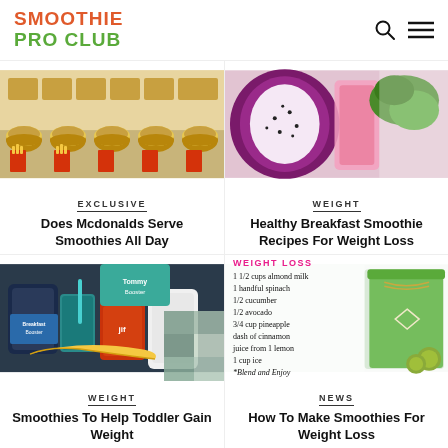SMOOTHIE PRO CLUB
[Figure (photo): McDonald's menu items including burgers and sandwiches laid out on white background]
EXCLUSIVE
Does Mcdonalds Serve Smoothies All Day
[Figure (photo): Purple dragon fruit and green smoothie with mint leaves]
WEIGHT
Healthy Breakfast Smoothie Recipes For Weight Loss
[Figure (photo): Smoothie ingredients including peanut butter jar, banana, protein powder, and blender cup]
WEIGHT
Smoothies To Help Toddler Gain Weight
[Figure (infographic): Green smoothie recipe card with weight loss smoothie ingredients list and a mason jar of green smoothie]
NEWS
How To Make Smoothies For Weight Loss